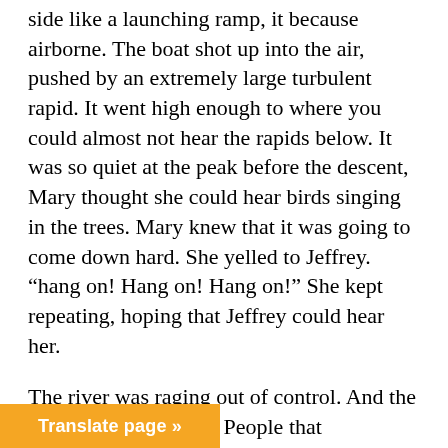side like a launching ramp, it because airborne. The boat shot up into the air, pushed by an extremely large turbulent rapid. It went high enough to where you could almost not hear the rapids below. It was so quiet at the peak before the descent, Mary thought she could hear birds singing in the trees. Mary knew that it was going to come down hard. She yelled to Jeffrey. “hang on! Hang on! Hang on!” She kept repeating, hoping that Jeffrey could hear her.
The river was raging out of control. And the sound was deafening. People that deliberately ride down rapids often make the comparison, it sounds like a freight train, and you’re right in the middle of it. Now they were right in the worst part of the river. The boulders were large, at least the ones you can see. Most of the other ones were just below the water surface but high enough to tear up the boat. The sides of the river that went up 10 to 15 feet or